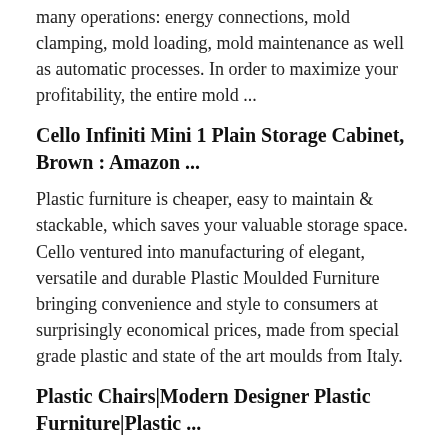many operations: energy connections, mold clamping, mold loading, mold maintenance as well as automatic processes. In order to maximize your profitability, the entire mold ...
Cello Infiniti Mini 1 Plain Storage Cabinet, Brown : Amazon ...
Plastic furniture is cheaper, easy to maintain & stackable, which saves your valuable storage space. Cello ventured into manufacturing of elegant, versatile and durable Plastic Moulded Furniture bringing convenience and style to consumers at surprisingly economical prices, made from special grade plastic and state of the art moulds from Italy.
Plastic Chairs|Modern Designer Plastic Furniture|Plastic ...
Supreme provide Plastic Chairs,Moulded plastic chairs supreme plastic furniture,Plastic Chair,Plastic ...